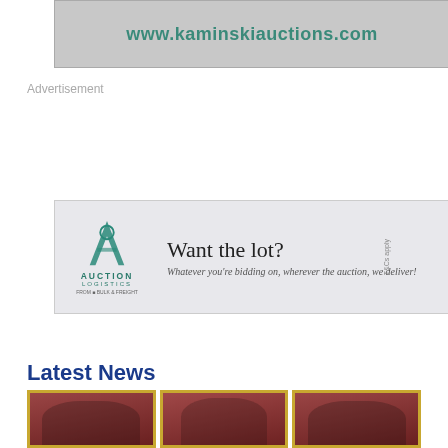[Figure (other): Banner advertisement for www.kaminskiauctions.com with grey background and teal/green URL text]
Advertisement
[Figure (other): Auction Logistics advertisement banner: 'Want the lot? Whatever you're bidding on, wherever the auction, we deliver!' with teal logo and T&Cs apply note]
Latest News
[Figure (photo): Three portrait photographs in gold frames against red background, showing people at what appears to be a formal event]